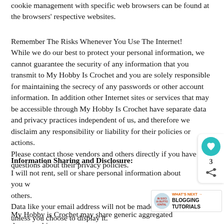cookie management with specific web browsers can be found at the browsers' respective websites.
Remember The Risks Whenever You Use The Internet!
While we do our best to protect your personal information, we cannot guarantee the security of any information that you transmit to My Hobby Is Crochet and you are solely responsible for maintaining the secrecy of any passwords or other account information. In addition other Internet sites or services that may be accessible through My Hobby Is Crochet have separate data and privacy practices independent of us, and therefore we disclaim any responsibility or liability for their policies or actions.
Please contact those vendors and others directly if you have any questions about their privacy policies.
Information Sharing and Disclosure:
I will not rent, sell or share personal information about you with others.
Data like your email address will not be made visible unless you choose to display it.
My Hobby is Crochet may share generic aggregated demographic